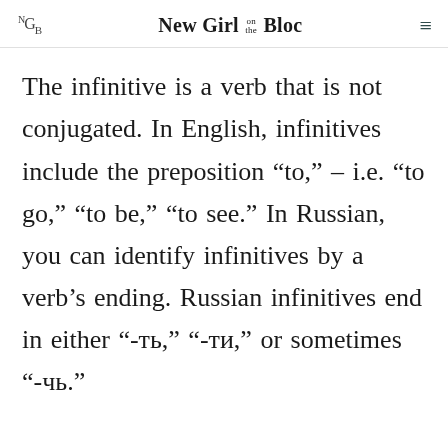NGB — New Girl on the Bloc
The infinitive is a verb that is not conjugated. In English, infinitives include the preposition “to,” – i.e. “to go,” “to be,” “to see.” In Russian, you can identify infinitives by a verb’s ending. Russian infinitives end in either “-ть,” “-ти,” or sometimes “-чь.”